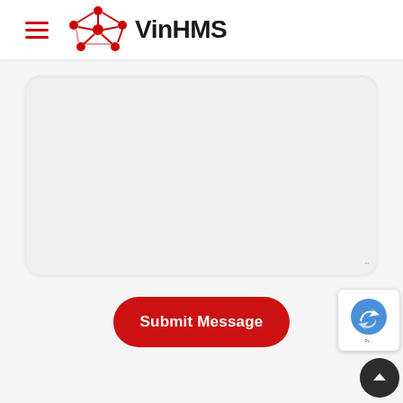[Figure (logo): VinHMS logo with red network/molecule icon and hamburger menu icon on left, 'VinHMS' text in bold dark font]
[Figure (screenshot): A rounded light gray textarea input box for composing a message, with a resize handle indicator at bottom-right corner]
[Figure (other): Red rounded pill-shaped 'Submit Message' button]
[Figure (other): reCAPTCHA badge with blue bird logo and dark scroll-to-top circular button]